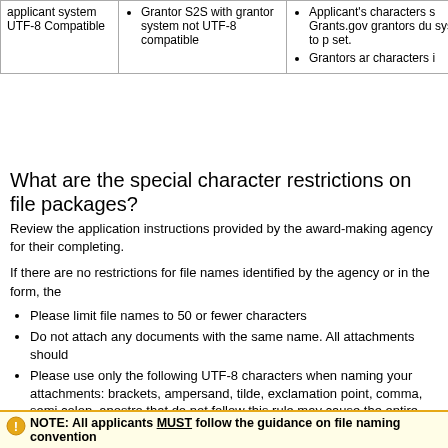| applicant system UTF-8 Compatible | Grantor S2S with grantor system not UTF-8 compatible | Applicant's characters s... Grants.gov grantors du... system to p... set.
Grantors ar... characters i... |
What are the special character restrictions on file packages?
Review the application instructions provided by the award-making agency for their completing.
If there are no restrictions for file names identified by the agency or in the form, the
Please limit file names to 50 or fewer characters
Do not attach any documents with the same name. All attachments should
Please use only the following UTF-8 characters when naming your attach brackets, ampersand, tilde, exclamation point, comma, semi colon, apostro that do not follow this rule may cause the entire application to be rejected
NOTE: All applicants MUST follow the guidance on file naming convention